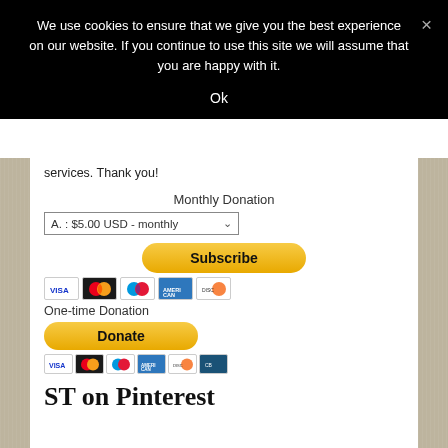We use cookies to ensure that we give you the best experience on our website. If you continue to use this site we will assume that you are happy with it.
Ok
services. Thank you!
Monthly Donation
A. : $5.00 USD - monthly
[Figure (other): PayPal Subscribe button with payment card icons (Visa, Mastercard, Maestro, Amex, Discover)]
One-time Donation
[Figure (other): PayPal Donate button with payment card icons (Visa, Mastercard, Maestro, Amex, Discover, additional card)]
ST on Pinterest